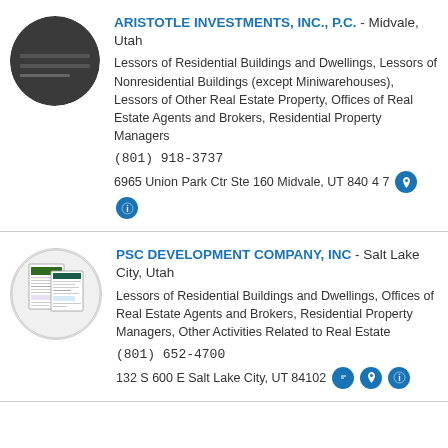[Figure (photo): Circular avatar image with dark gray/charcoal background representing Aristotle Investments, Inc., P.C.]
ARISTOTLE INVESTMENTS, INC., P.C. - Midvale, Utah
Lessors of Residential Buildings and Dwellings, Lessors of Nonresidential Buildings (except Miniwarehouses), Lessors of Other Real Estate Property, Offices of Real Estate Agents and Brokers, Residential Property Managers
(801) 918-3737
6965 Union Park Ctr Ste 160 Midvale, UT 84047
[Figure (photo): Circular avatar image showing a screenshot of a website/document for PSC Development Company, Inc.]
PSC DEVELOPMENT COMPANY, INC - Salt Lake City, Utah
Lessors of Residential Buildings and Dwellings, Offices of Real Estate Agents and Brokers, Residential Property Managers, Other Activities Related to Real Estate
(801) 652-4700
132 S 600 E Salt Lake City, UT 84102